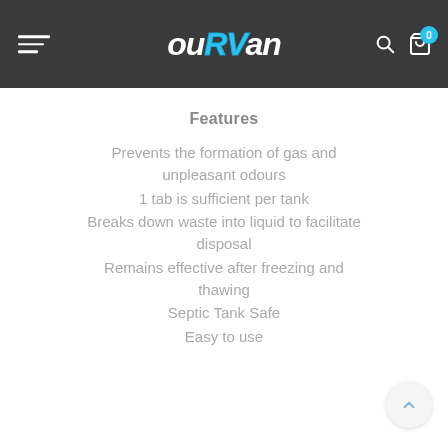ouRVan
Features
Prevents the formation of gas and unpleasant odours
1 tab is sufficient per tank
Breaks down waste into liquid to facilitate disposal
Remains effective after freezing and thawing
Septic Tank Safe
Easy to use